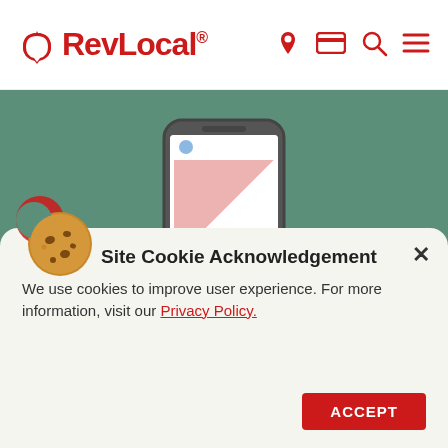RevLocal® [navigation icons: location pin, card, search, menu]
[Figure (illustration): Smartphone displaying a broken/error image on its screen, on a teal/green background]
Site Cookie Acknowledgement ✕
[Figure (illustration): Cookie emoji icon with a bite taken out]
We use cookies to improve user experience. For more information, visit our Privacy Policy.
Google has begun rolling out new mobile-extension news for sitelinks, structured snippets and callout extensions to select accounts. This is in response to the increasing number of
ACCEPT